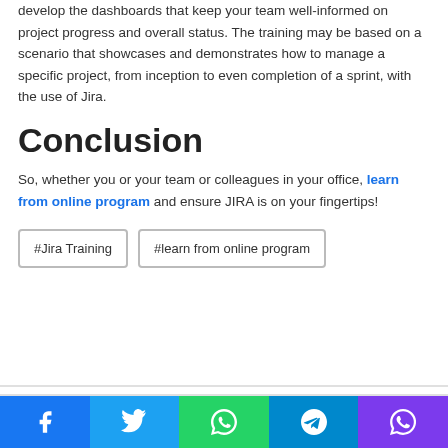develop the dashboards that keep your team well-informed on project progress and overall status. The training may be based on a scenario that showcases and demonstrates how to manage a specific project, from inception to even completion of a sprint, with the use of Jira.
Conclusion
So, whether you or your team or colleagues in your office, learn from online program and ensure JIRA is on your fingertips!
#Jira Training   #learn from online program
[Figure (infographic): Social media sharing bar with icons for Facebook, Twitter, WhatsApp, Telegram, and phone/Viber]